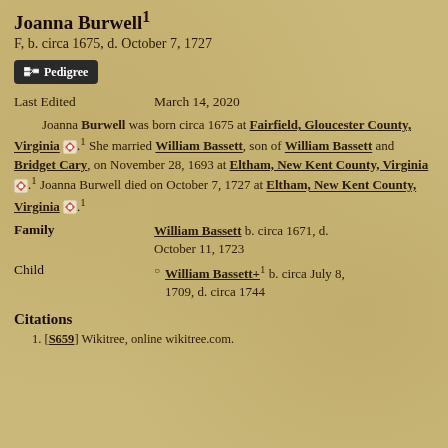Joanna Burwell¹
F, b. circa 1675, d. October 7, 1727
Pedigree
Last Edited    March 14, 2020
Joanna Burwell was born circa 1675 at Fairfield, Gloucester County, Virginia. She married William Bassett, son of William Bassett and Bridget Cary, on November 28, 1693 at Eltham, New Kent County, Virginia. Joanna Burwell died on October 7, 1727 at Eltham, New Kent County, Virginia.
Family    William Bassett b. circa 1671, d. October 11, 1723
Child    William Bassett+¹ b. circa July 8, 1709, d. circa 1744
Citations
1. [S659] Wikitree, online wikitree.com.